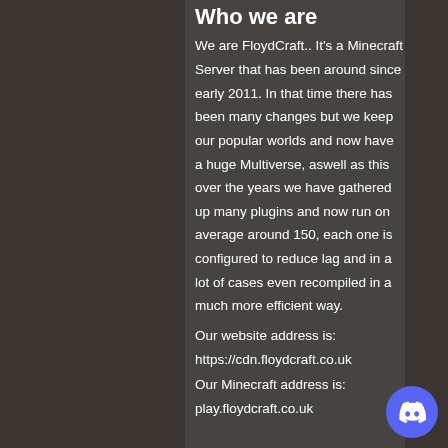Who we are
We are FloydCraft.. It's a Minecraft Server that has been around since early 2011. In that time there has been many changes but we keep our popular worlds and now have a huge Multiverse, aswell as this over the years we have gathered up many plugins and now run on average around 150, each one is configured to reduce lag and in a lot of cases even recompiled in a much more efficient way.
Our website address is:
https://cdn.floydcraft.co.uk
Our Minecraft address is:
play.floydcraft.co.uk